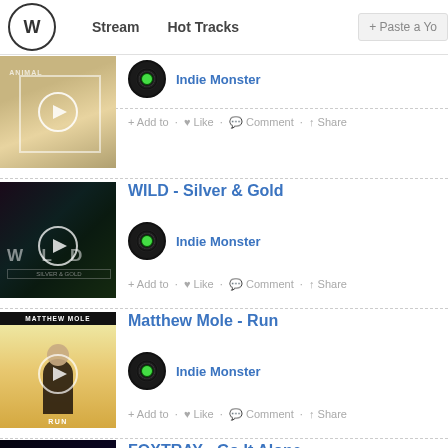W  Stream  Hot Tracks  + Paste a Yo
[Figure (screenshot): Album art thumbnail for Indie Monster track 1 - sandy colored abstract art]
Indie Monster
+ Add to · ♥ Like · ● Comment · Share
WILD - Silver & Gold
[Figure (screenshot): Album art for WILD - Silver & Gold, dark teal background]
Indie Monster
+ Add to · ♥ Like · ● Comment · Share
Matthew Mole - Run
[Figure (screenshot): Album art for Matthew Mole - Run, yellow background with figure]
Indie Monster
+ Add to · ♥ Like · ● Comment · Share
[Figure (screenshot): Album art for FOXTRAY - Go It Alone, dark blue/space background]
FOXTRAY - Go It Alone